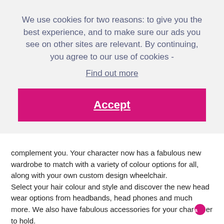We use cookies for two reasons: to give you the best experience, and to make sure our ads you see on other sites are relevant. By continuing, you agree to our use of cookies - Find out more
Accept
complement you. Your character now has a fabulous new wardrobe to match with a variety of colour options for all, along with your own custom design wheelchair. Select your hair colour and style and discover the new head wear options from headbands, head phones and much more. We also have fabulous accessories for your character to hold.